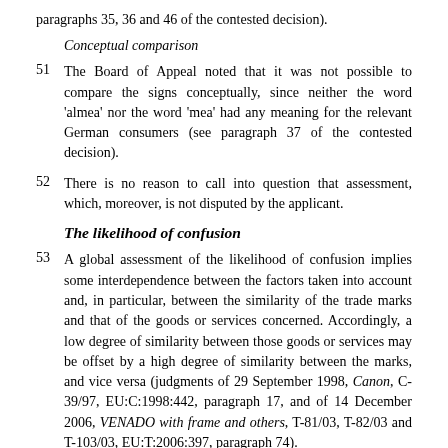paragraphs 35, 36 and 46 of the contested decision).
Conceptual comparison
51    The Board of Appeal noted that it was not possible to compare the signs conceptually, since neither the word ‘almea’ nor the word ‘mea’ had any meaning for the relevant German consumers (see paragraph 37 of the contested decision).
52    There is no reason to call into question that assessment, which, moreover, is not disputed by the applicant.
The likelihood of confusion
53    A global assessment of the likelihood of confusion implies some interdependence between the factors taken into account and, in particular, between the similarity of the trade marks and that of the goods or services concerned. Accordingly, a low degree of similarity between those goods or services may be offset by a high degree of similarity between the marks, and vice versa (judgments of 29 September 1998, Canon, C-39/97, EU:C:1998:442, paragraph 17, and of 14 December 2006, VENADO with frame and others, T-81/03, T-82/03 and T-103/03, EU:T:2006:397, paragraph 74).